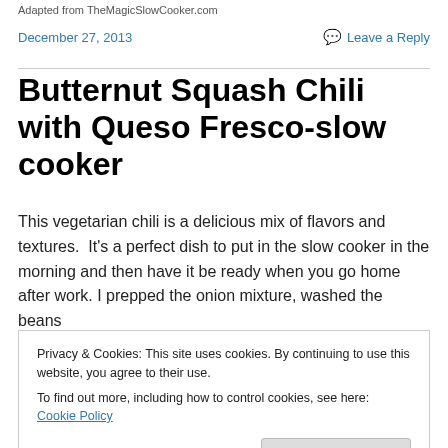Adapted from TheMagicSlowCooker.com
December 27, 2013
Leave a Reply
Butternut Squash Chili with Queso Fresco-slow cooker
This vegetarian chili is a delicious mix of flavors and textures.  It's a perfect dish to put in the slow cooker in the morning and then have it be ready when you go home after work.  I prepped the onion mixture, washed the beans
Privacy & Cookies: This site uses cookies. By continuing to use this website, you agree to their use.
To find out more, including how to control cookies, see here: Cookie Policy
Close and accept
delicious.